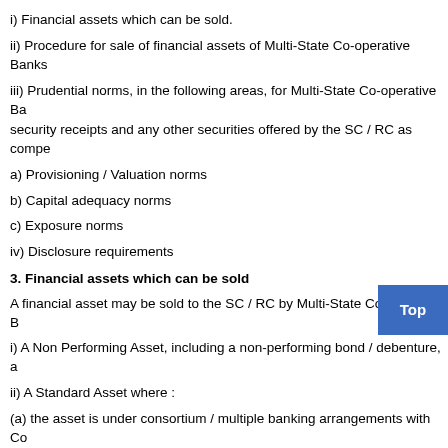i) Financial assets which can be sold.
ii) Procedure for sale of financial assets of Multi-State Co-operative Banks
iii) Prudential norms, in the following areas, for Multi-State Co-operative Banks in respect of security receipts and any other securities offered by the SC / RC as compe
a) Provisioning / Valuation norms
b) Capital adequacy norms
c) Exposure norms
iv) Disclosure requirements
3. Financial assets which can be sold
A financial asset may be sold to the SC / RC by Multi-State Co-operative B
i) A Non Performing Asset, including a non-performing bond / debenture, a
ii) A Standard Asset where :
(a) the asset is under consortium / multiple banking arrangements with Co
(b) at least 75% by value of the asset is classified as non-performing asset
(c) at least 75% (by value) of the banks who are under the consortium / mu
4. Procedure for sale of financial assets of Multi-State Co-operative B
The SARFAESI Act, 2002 allows acquisition of financial assets by SC / upon between them. This provides for sale of the financial assets on 'with being transferred to SC / RC, as well as on 'with recourse' basis, i.e., sub Banks are, however, directed to ensure that the effect of the sale of the fi